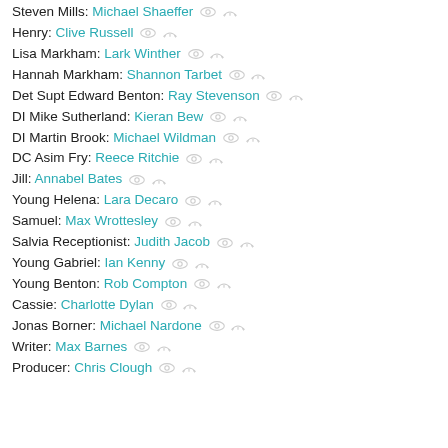Steven Mills: Michael Shaeffer
Henry: Clive Russell
Lisa Markham: Lark Winther
Hannah Markham: Shannon Tarbet
Det Supt Edward Benton: Ray Stevenson
DI Mike Sutherland: Kieran Bew
DI Martin Brook: Michael Wildman
DC Asim Fry: Reece Ritchie
Jill: Annabel Bates
Young Helena: Lara Decaro
Samuel: Max Wrottesley
Salvia Receptionist: Judith Jacob
Young Gabriel: Ian Kenny
Young Benton: Rob Compton
Cassie: Charlotte Dylan
Jonas Borner: Michael Nardone
Writer: Max Barnes
Producer: Chris Clough